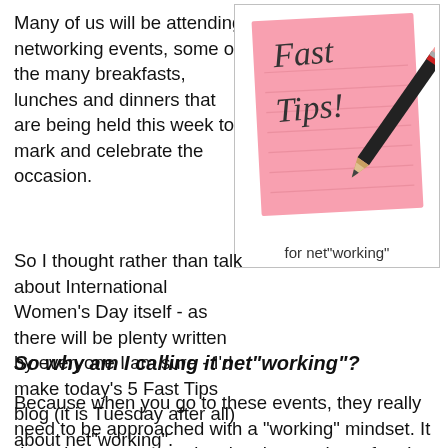Many of us will be attending networking events, some of the many breakfasts, lunches and dinners that are being held this week to mark and celebrate the occasion.
[Figure (photo): Pink sticky note with 'Fast Tips!' written on it and a pencil resting on top, on a white background.]
for net"working"
So I thought rather than talk about International Women's Day itself - as there will be plenty written by everyone I am sure - I'd make today's 5 Fast Tips blog (it is Tuesday after all) about net"working".
So why am I calling it net"working"?
Because when you go to these events, they really need to be approached with a "working" mindset. It doesn't mean you can't enjoy them or have fun. It does mean that you need to consciously prepare and think about what you are going to